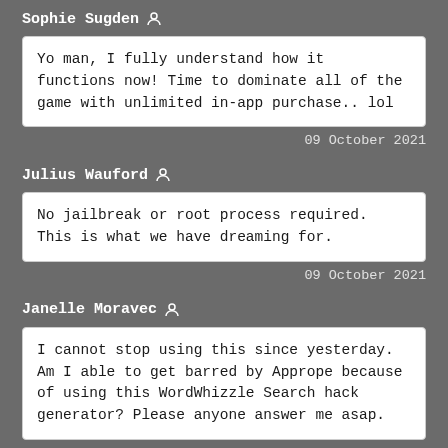Sophie Sugden
Yo man, I fully understand how it functions now! Time to dominate all of the game with unlimited in-app purchase.. lol
09 October 2021
Julius Wauford
No jailbreak or root process required. This is what we have dreaming for.
09 October 2021
Janelle Moravec
I cannot stop using this since yesterday. Am I able to get barred by Apprope because of using this WordWhizzle Search hack generator? Please anyone answer me asap.
10 October 2021